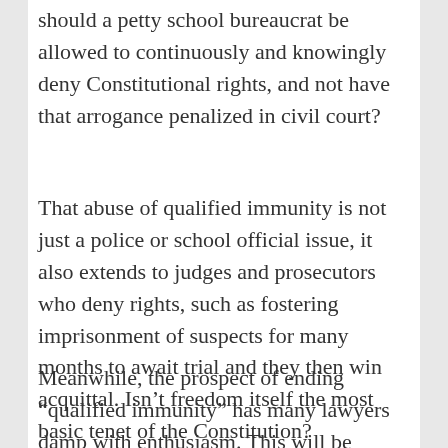should a petty school bureaucrat be allowed to continuously and knowingly deny Constitutional rights, and not have that arrogance penalized in civil court?
That abuse of qualified immunity is not just a police or school official issue, it also extends to judges and prosecutors who deny rights, such as fostering imprisonment of suspects for many months to await trial and they then win acquittal. Isn't freedom itself the most basic tenet of the Constitution?
Meanwhile, the prospect of ending “qualified immunity” has many lawyers damp with enthusiasm. This will be another goldmine in frivolous legal action. 30% shares of the